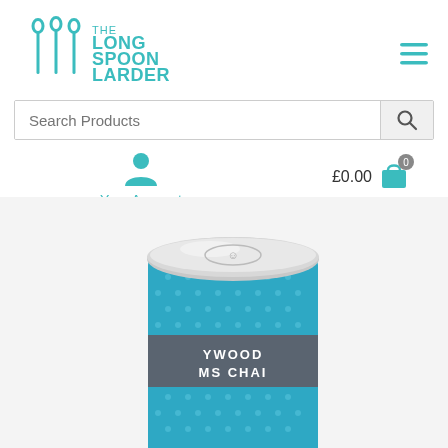[Figure (logo): The Long Spoon Larder logo with teal cutlery icons and teal text]
[Figure (other): Hamburger menu icon (three teal horizontal lines) in top right corner]
Search Products
Your Account
£0.00
[Figure (photo): A teal blue polka-dot cylindrical tea tin with a silver lid, partially visible. Label reads: YWOOD AMS CHAI (partially visible text).]